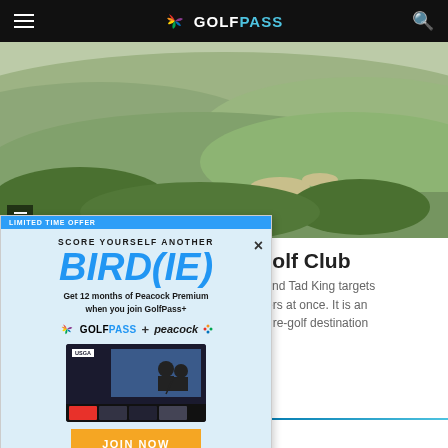GOLFPASS
[Figure (photo): Aerial view of green rolling golf course hills and fairways in misty conditions]
Golf Club
s and Tad King targets nters at once. It is an nture-golf destination
[Figure (screenshot): Advertisement popup: LIMITED TIME OFFER - SCORE YOURSELF ANOTHER BIRD(IE) - Get 12 months of Peacock Premium when you join GolfPass+ - GolfPass + peacock logos - USGA screen image - JOIN NOW button - $4.99/mo. Eligibility restrictions and terms apply.]